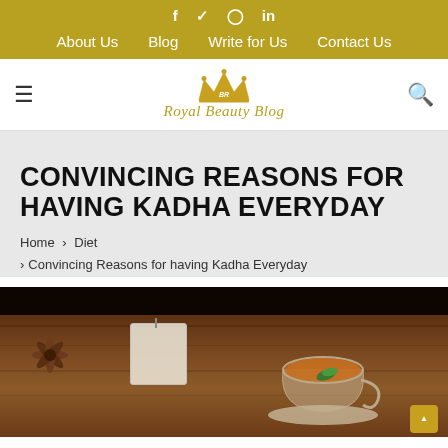f  ✦  🐦  📷  in  |  About Us   Blog   Write for Us   Contact Us
[Figure (logo): Royal Beauty Blog logo with gold crown icon and script text]
CONVINCING REASONS FOR HAVING KADHA EVERYDAY
Home > Diet > Convincing Reasons for having Kadha Everyday
[Figure (photo): Photo of kadha tea: a glass cup of amber-colored herbal tea on a wooden surface, with star anise spices and a tea bag, mint leaves visible]